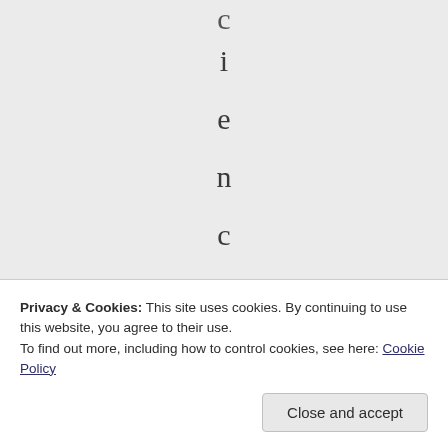i e n c e " a n d "
Privacy & Cookies: This site uses cookies. By continuing to use this website, you agree to their use.
To find out more, including how to control cookies, see here: Cookie Policy
Close and accept
t